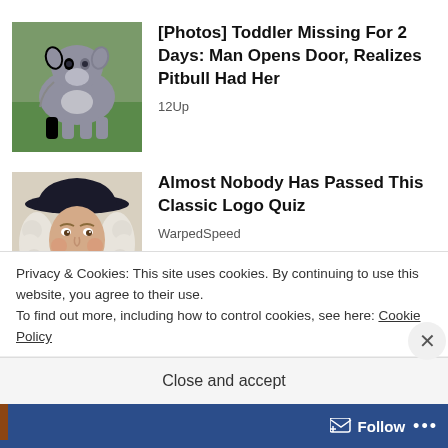[Figure (photo): Photo of a gray pitbull dog standing on grass outdoors]
[Photos] Toddler Missing For 2 Days: Man Opens Door, Realizes Pitbull Had Her
12Up
[Figure (photo): Illustrated portrait of a smiling man with white colonial-style wig and dark wide-brimmed hat, resembling the Quaker Oats mascot]
Almost Nobody Has Passed This Classic Logo Quiz
WarpedSpeed
Privacy & Cookies: This site uses cookies. By continuing to use this website, you agree to their use.
To find out more, including how to control cookies, see here: Cookie Policy
Close and accept